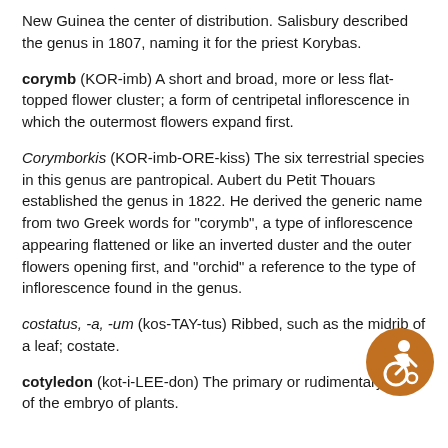New Guinea the center of distribution. Salisbury described the genus in 1807, naming it for the priest Korybas.
corymb (KOR-imb) A short and broad, more or less flat-topped flower cluster; a form of centripetal inflorescence in which the outermost flowers expand first.
Corymborkis (KOR-imb-ORE-kiss) The six terrestrial species in this genus are pantropical. Aubert du Petit Thouars established the genus in 1822. He derived the generic name from two Greek words for "corymb", a type of inflorescence appearing flattened or like an inverted duster and the outer flowers opening first, and "orchid" a reference to the type of inflorescence found in the genus.
costatus, -a, -um (kos-TAY-tus) Ribbed, such as the midrib of a leaf; costate.
cotyledon (kot-i-LEE-don) The primary or rudimentary leaf of the embryo of plants.